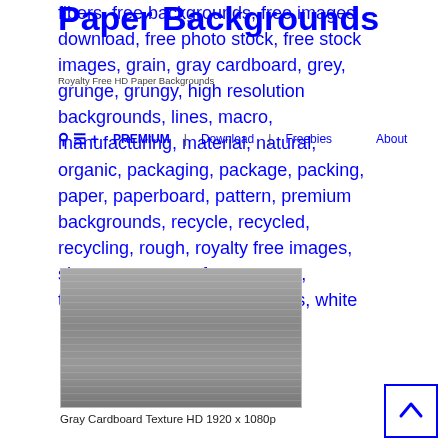Paper Backgrounds
fibers, free backgrounds, free images download, free photo stock, free stock images, grain, gray cardboard, grey, grunge, grungy, high resolution backgrounds, lines, macro, manufacturing, material, natural, organic, packaging, package, packing, paper, paperboard, pattern, premium backgrounds, recycle, recycled, recycling, rough, royalty free images, sheet, square, surface, texture, textured, wallpaper, wallpapers, white
Royalty Free HD Paper Backgrounds
PREMIUM | Download | Freebies    About
[Figure (photo): Gray cardboard texture photograph showing a gray paper/cardboard surface with subtle horizontal lines and texture detail, HD 1920x1080p]
Gray Cardboard Texture HD 1920 x 1080p